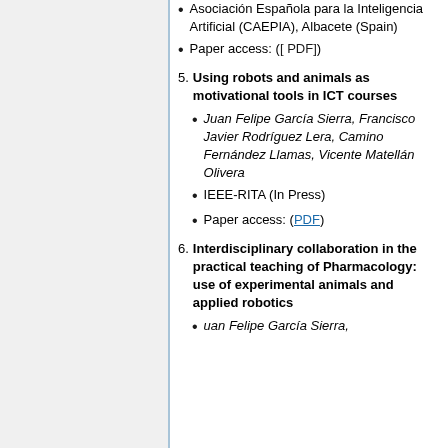Asociación Española para la Inteligencia Artificial (CAEPIA), Albacete (Spain)
Paper access: ([ PDF])
5. Using robots and animals as motivational tools in ICT courses
Juan Felipe García Sierra, Francisco Javier Rodríguez Lera, Camino Fernández Llamas, Vicente Matellán Olivera
IEEE-RITA (In Press)
Paper access: (PDF)
6. Interdisciplinary collaboration in the practical teaching of Pharmacology: use of experimental animals and applied robotics
uan Felipe García Sierra,